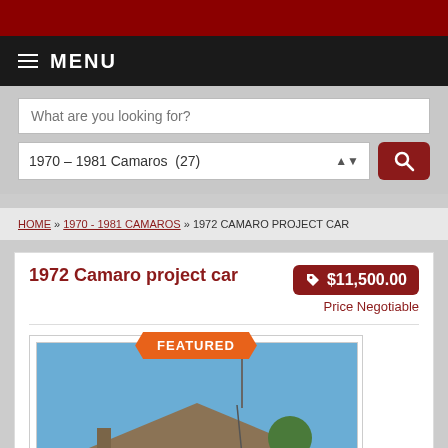MENU
What are you looking for?
1970 – 1981 Camaros  (27)
HOME » 1970 - 1981 CAMAROS » 1972 CAMARO PROJECT CAR
1972 Camaro project car
$11,500.00
Price Negotiable
[Figure (photo): 1972 Camaro project car parked in front of a house, white car, blue sky, with a FEATURED banner]